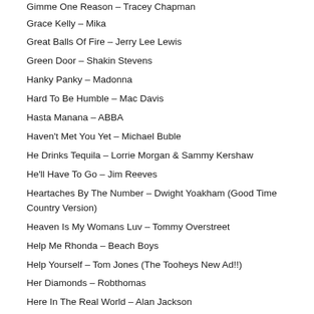Gimme One Reason – Tracey Chapman
Grace Kelly – Mika
Great Balls Of Fire – Jerry Lee Lewis
Green Door – Shakin Stevens
Hanky Panky – Madonna
Hard To Be Humble – Mac Davis
Hasta Manana – ABBA
Haven't Met You Yet – Michael Buble
He Drinks Tequila – Lorrie Morgan & Sammy Kershaw
He'll Have To Go – Jim Reeves
Heartaches By The Number – Dwight Yoakham (Good Time Country Version)
Heaven Is My Womans Luv – Tommy Overstreet
Help Me Rhonda – Beach Boys
Help Yourself – Tom Jones (The Tooheys New Ad!!)
Her Diamonds – Robthomas
Here In The Real World – Alan Jackson
Here You Come Again – Dolly Parton
Hey Baby – DJ Otzi Dance Version
Hey Ya – Outkast